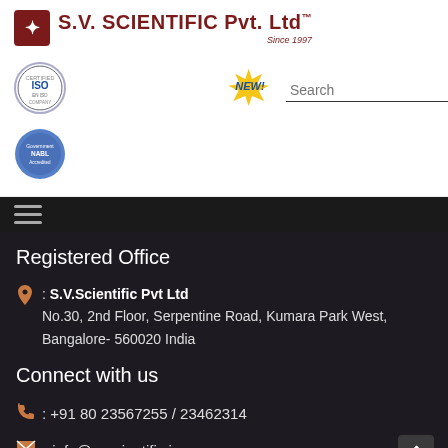[Figure (logo): S.V. Scientific Pvt. Ltd logo with maroon shield icon, company name in maroon bold text, and 'Since 1997' tagline]
[Figure (logo): ISO certified badge (blue circular logo) on the left, NEW! starburst badge in yellow/blue in the center]
Search
[Figure (logo): NABL accreditation blue circular badge]
Registered Office
: S.V.Scientific Pvt Ltd
No.30, 2nd Floor, Serpentine Road, Kumara Park West, Bangalore- 560020 India
Connect with us
: +91 80 23567255 / 23462314
: info@svscientific.in